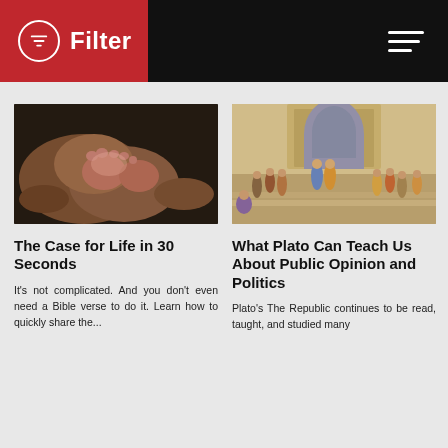Filter — navigation header with Filter logo and hamburger menu
[Figure (photo): Close-up photo of a newborn baby's feet resting in adult hands]
[Figure (photo): Raphael's 'The School of Athens' painting showing ancient Greek philosophers]
The Case for Life in 30 Seconds
What Plato Can Teach Us About Public Opinion and Politics
It's not complicated. And you don't even need a Bible verse to do it. Learn how to quickly share the...
Plato's The Republic continues to be read, taught, and studied many